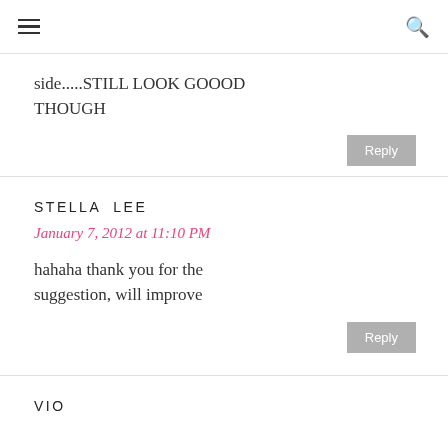☰  🔍
side.....STILL LOOK GOOOD THOUGH
STELLA LEE
January 7, 2012 at 11:10 PM
hahaha thank you for the suggestion, will improve
vio